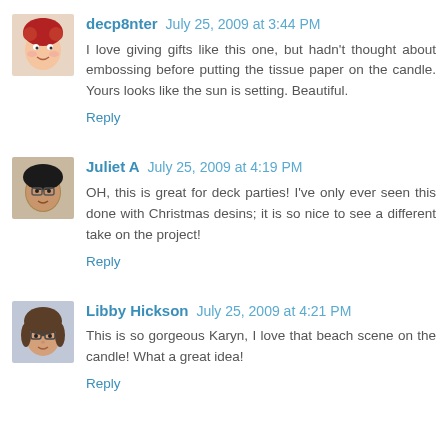[Figure (photo): Avatar image of user decp8nter - cartoon/illustrated doll face with red curly hair]
decp8nter July 25, 2009 at 3:44 PM
I love giving gifts like this one, but hadn't thought about embossing before putting the tissue paper on the candle. Yours looks like the sun is setting. Beautiful.
Reply
[Figure (photo): Avatar image of user Juliet A - person with glasses]
Juliet A July 25, 2009 at 4:19 PM
OH, this is great for deck parties! I've only ever seen this done with Christmas desins; it is so nice to see a different take on the project!
Reply
[Figure (photo): Avatar image of user Libby Hickson - woman with glasses]
Libby Hickson July 25, 2009 at 4:21 PM
This is so gorgeous Karyn, I love that beach scene on the candle! What a great idea!
Reply